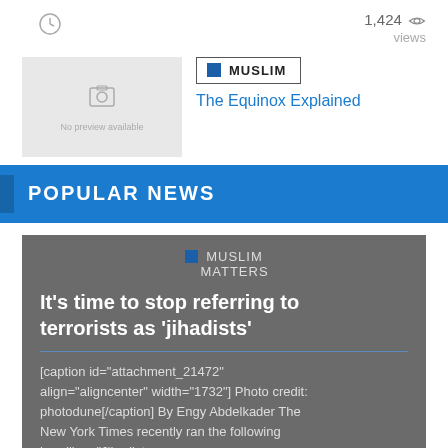[Figure (infographic): Clock icon on left, views count 1,424 with eye icon on right]
[Figure (photo): Thumbnail placeholder image with camera icon and 'No preview available' text]
MUSLIM
The Equinox Explained
POPULAR NEWS
MUSLIM MATTERS
It's time to stop referring to terrorists as 'jihadists'
[caption id="attachment_21472" align="aligncenter" width="1732"] Photo credit: photodune[/caption] By Engy Abdelkader The New York Times recently ran the following headline, "Jihadists...